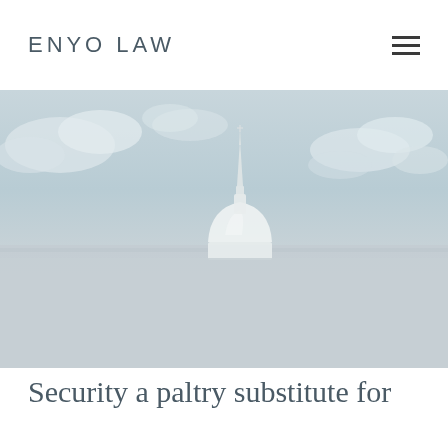ENYO LAW
[Figure (photo): St Paul's Cathedral dome and spire emerging above a muted grey-blue horizon, with clouds in the background. The lower half of the image fades into a flat light grey.]
Security a paltry substitute for